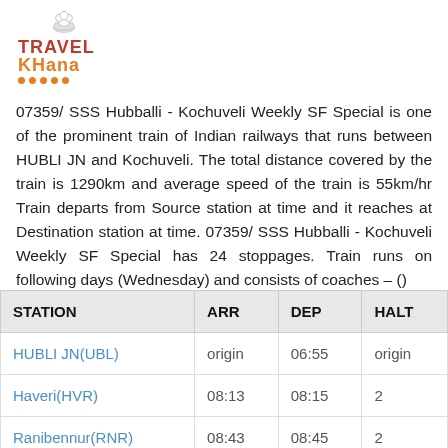[Figure (logo): TravelKhana logo with chef hat icon, red TRAVEL text, orange KHANA text, and orange dots underline]
07359/ SSS Hubballi - Kochuveli Weekly SF Special is one of the prominent train of Indian railways that runs between HUBLI JN and Kochuveli. The total distance covered by the train is 1290km and average speed of the train is 55km/hr Train departs from Source station at time and it reaches at Destination station at time. 07359/ SSS Hubballi - Kochuveli Weekly SF Special has 24 stoppages. Train runs on following days (Wednesday) and consists of coaches – ()
| STATION | ARR | DEP | HALT |
| --- | --- | --- | --- |
| HUBLI JN(UBL) | origin | 06:55 | origin |
| Haveri(HVR) | 08:13 | 08:15 | 2 |
| Ranibennur(RNR) | 08:43 | 08:45 | 2 |